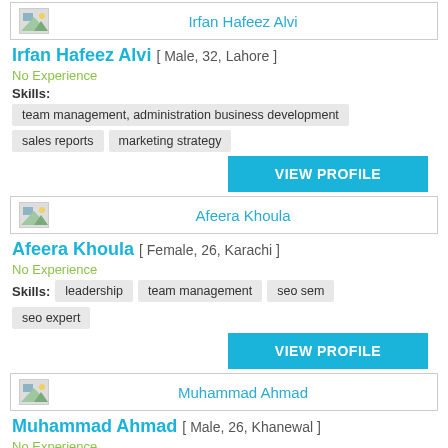[Figure (other): Profile card header with icon and name: Irfan Hafeez Alvi]
Irfan Hafeez Alvi [ Male, 32, Lahore ]
No Experience
Skills:
team management, administration business development
sales reports
marketing strategy
VIEW PROFILE
[Figure (other): Profile card header with icon and name: Afeera Khoula]
Afeera Khoula [ Female, 26, Karachi ]
No Experience
Skills:
leadership
team management
seo sem
seo expert
VIEW PROFILE
[Figure (other): Profile card header with icon and name: Muhammad Ahmad]
Muhammad Ahmad [ Male, 26, Khanewal ]
No Experience